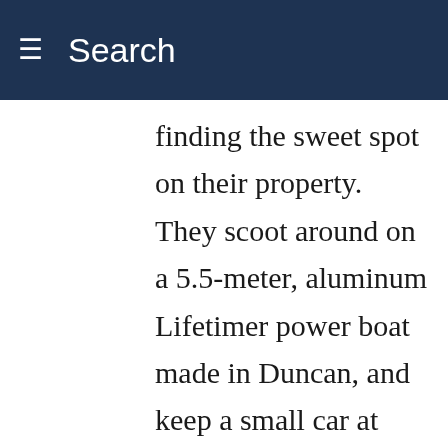Search
s on finding the sweet spot on their property. They scoot around on a 5.5-meter, aluminum Lifetimer power boat made in Duncan, and keep a small car at Burgoyne Bay for grocery runs to Salt Spring.

In summer, you’ll find them on the front deck. “We eat pretty much three meals a day out